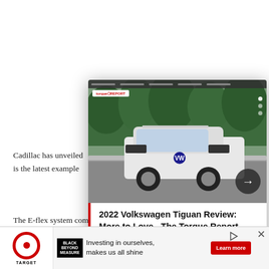Cadillac has unveiled … is the latest example …
[Figure (screenshot): Popup overlay showing a 2022 Volkswagen Tiguan white SUV driving on a road, with The Torque Report logo, navigation dots, and a forward arrow button. Title reads: 2022 Volkswagen Tiguan Review: More to Love - The Torque Report]
[Figure (screenshot): Partially visible book advertisement with book cover image and text: JONATHAN WHAT CULTURE]
The E-flex system combines the new fifth-generation fuel cell system and a lithium-ion battery to produce an electrically driven vehicle that does not … driven a total of 3… m
[Figure (screenshot): Target Black Beyond Measure advertisement banner at bottom: Investing in ourselves, makes us all shine. Learn more button.]